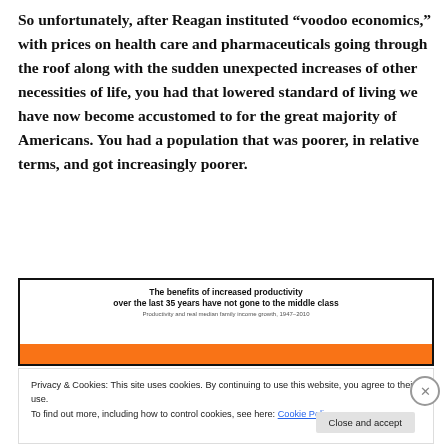So unfortunately, after Reagan instituted “voodoo economics,” with prices on health care and pharmaceuticals going through the roof along with the sudden unexpected increases of other necessities of life, you had that lowered standard of living we have now become accustomed to for the great majority of Americans. You had a population that was poorer, in relative terms, and got increasingly poorer.
[Figure (other): Chart box with title 'The benefits of increased productivity over the last 35 years have not gone to the middle class' and subtitle 'Productivity and real median family income growth, 1947–2010'. The bottom portion is obscured by a cookie consent banner.]
Privacy & Cookies: This site uses cookies. By continuing to use this website, you agree to their use.
To find out more, including how to control cookies, see here: Cookie Policy
Close and accept